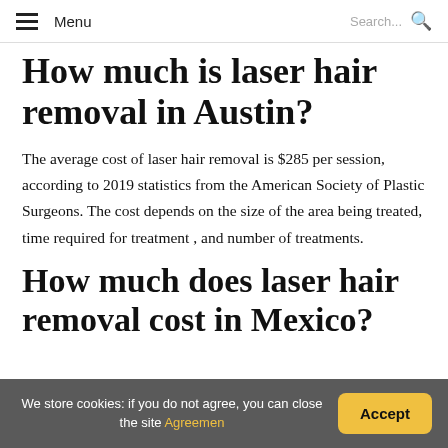Menu  Search...
How much is laser hair removal in Austin?
The average cost of laser hair removal is $285 per session, according to 2019 statistics from the American Society of Plastic Surgeons. The cost depends on the size of the area being treated, time required for treatment , and number of treatments.
How much does laser hair removal cost in Mexico?
We store cookies: if you do not agree, you can close the site Agreemen  Accept